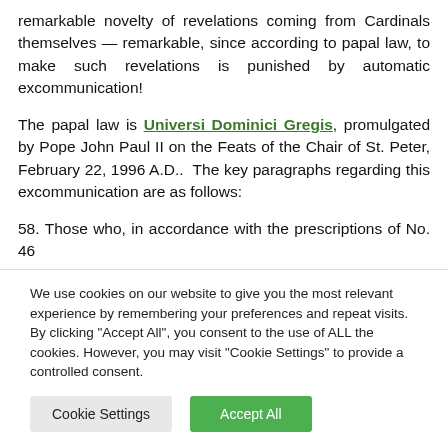remarkable novelty of revelations coming from Cardinals themselves — remarkable, since according to papal law, to make such revelations is punished by automatic excommunication!
The papal law is Universi Dominici Gregis, promulgated by Pope John Paul II on the Feats of the Chair of St. Peter, February 22, 1996 A.D.. The key paragraphs regarding this excommunication are as follows:
58. Those who, in accordance with the prescriptions of No. 46
We use cookies on our website to give you the most relevant experience by remembering your preferences and repeat visits. By clicking "Accept All", you consent to the use of ALL the cookies. However, you may visit "Cookie Settings" to provide a controlled consent.